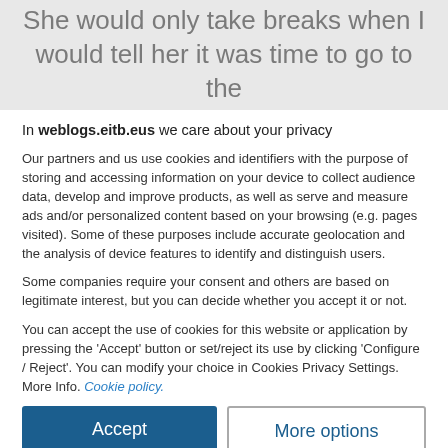She would only take breaks when I would tell her it was time to go to the
In weblogs.eitb.eus we care about your privacy
Our partners and us use cookies and identifiers with the purpose of storing and accessing information on your device to collect audience data, develop and improve products, as well as serve and measure ads and/or personalized content based on your browsing (e.g. pages visited). Some of these purposes include accurate geolocation and the analysis of device features to identify and distinguish users.
Some companies require your consent and others are based on legitimate interest, but you can decide whether you accept it or not.
You can accept the use of cookies for this website or application by pressing the 'Accept' button or set/reject its use by clicking 'Configure / Reject'. You can modify your choice in Cookies Privacy Settings. More Info. Cookie policy.
Accept
More options
See list of partners
Sibb° ver 125.38